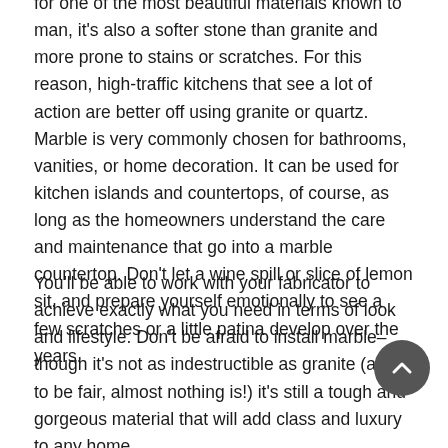for one of the most beautiful materials known to man, it's also a softer stone than granite and more prone to stains or scratches. For this reason, high-traffic kitchens that see a lot of action are better off using granite or quartz. Marble is very commonly chosen for bathrooms, vanities, or home decoration. It can be used for kitchen islands and countertops, of course, as long as the homeowners understand the care and maintenance that go into a marble countertop. Don't let a wine spill or slice of lemon sit, and prepare yourself emotionally to see a few scratches or a little patina develop over the years.
You'll be able to work with your fabricator to achieve exactly what you need in terms of look and lifestyle. Don't be afraid to install marble–though it's not as indestructible as granite (and to be fair, almost nothing is!) it's still a tough and gorgeous material that will add class and luxury to any home.